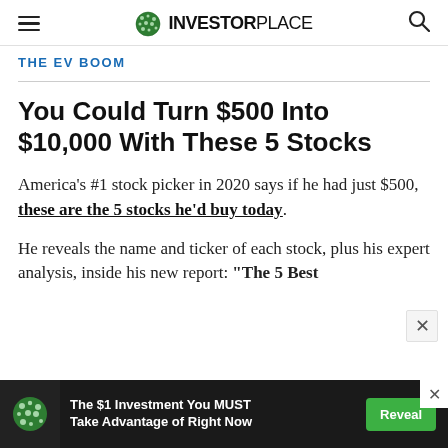INVESTORPLACE
THE EV BOOM
You Could Turn $500 Into $10,000 With These 5 Stocks
America's #1 stock picker in 2020 says if he had just $500, these are the 5 stocks he'd buy today.
He reveals the name and ticker of each stock, plus his expert analysis, inside his new report: “The 5 Best
[Figure (infographic): Advertisement banner: The $1 Investment You MUST Take Advantage of Right Now, with Reveal button]